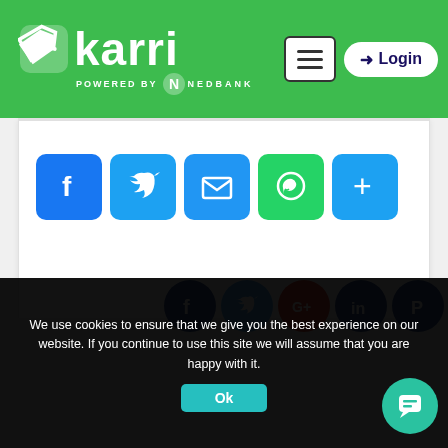[Figure (screenshot): Karri website header with green background, Karri logo powered by Nedbank, hamburger menu button, and Login button]
[Figure (infographic): Social sharing buttons: Facebook, Twitter, Email, WhatsApp, and More (+) in rounded square icons]
[Figure (infographic): Social media circular icons: Facebook, Twitter, Google+, LinkedIn, Pinterest]
We use cookies to ensure that we give you the best experience on our website. If you continue to use this site we will assume that you are happy with it.
[Figure (other): Ok button on cookie consent banner]